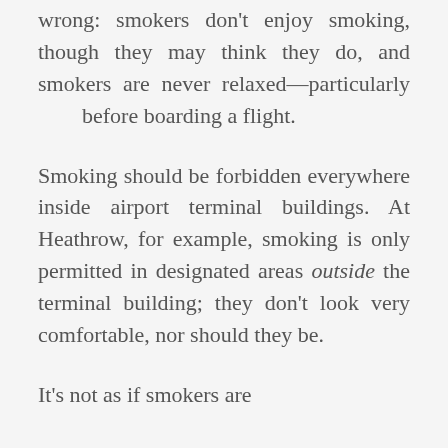wrong: smokers don't enjoy smoking, though they may think they do, and smokers are never relaxed—particularly before boarding a flight.
Smoking should be forbidden everywhere inside airport terminal buildings. At Heathrow, for example, smoking is only permitted in designated areas outside the terminal building; they don't look very comfortable, nor should they be.
It's not as if smokers are